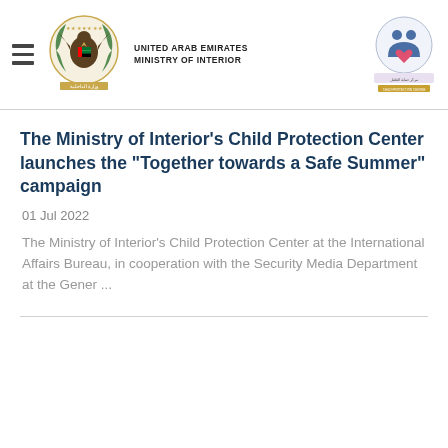United Arab Emirates Ministry of Interior
The Ministry of Interior's Child Protection Center launches the "Together towards a Safe Summer" campaign
01 Jul 2022
The Ministry of Interior's Child Protection Center at the International Affairs Bureau, in cooperation with the Security Media Department at the Gener ...